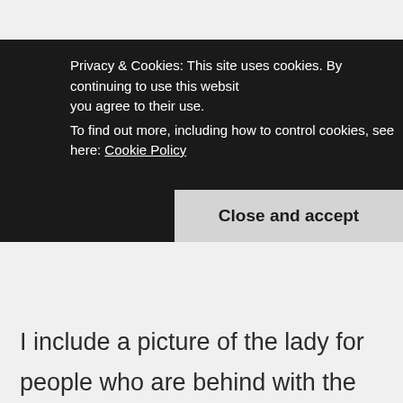Privacy & Cookies: This site uses cookies. By continuing to use this website, you agree to their use.
To find out more, including how to control cookies, see here: Cookie Policy
Close and accept
I include a picture of the lady for people who are behind with the news, but I have to admit, it took a little while to find one that actually depicted her in